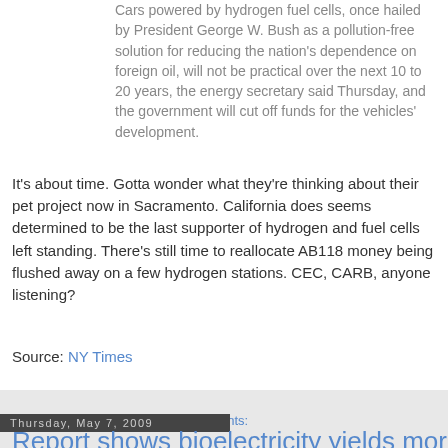Cars powered by hydrogen fuel cells, once hailed by President George W. Bush as a pollution-free solution for reducing the nation's dependence on foreign oil, will not be practical over the next 10 to 20 years, the energy secretary said Thursday, and the government will cut off funds for the vehicles' development.
It's about time. Gotta wonder what they're thinking about their pet project now in Sacramento. California does seems determined to be the last supporter of hydrogen and fuel cells left standing. There's still time to reallocate AB118 money being flushed away on a few hydrogen stations. CEC, CARB, anyone listening?
Source: NY Times
Marc Geller at 3:19 AM  4 comments:
Thursday, May 7, 2009
Report shows bioelectricity yields more